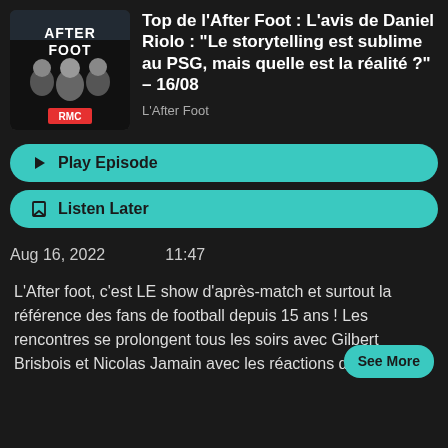[Figure (photo): After Foot podcast cover art showing three men in suits with RMC logo]
Top de l'After Foot : L'avis de Daniel Riolo : "Le storytelling est sublime au PSG, mais quelle est la réalité ?" – 16/08
L'After Foot
Play Episode
Listen Later
Aug 16, 2022
11:47
L'After foot, c'est LE show d'après-match et surtout la référence des fans de football depuis 15 ans ! Les rencontres se prolongent tous les soirs avec Gilbert Brisbois et Nicolas Jamain avec les réactions des
See More